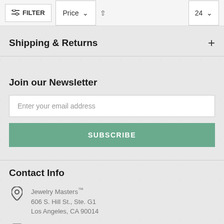FILTER | Price ∨ ↑ | 24 ∨
Shipping & Returns
Join our Newsletter
Enter your email address
SUBSCRIBE
Contact Info
Jewelry Masters™
606 S. Hill St., Ste. G1
Los Angeles, CA 90014
1-888-59-JEWEL